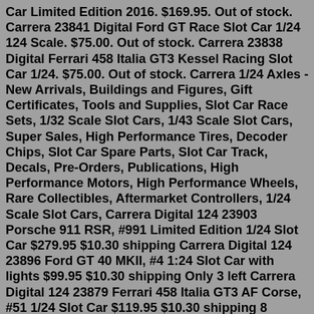Car Limited Edition 2016. $169.95. Out of stock. Carrera 23841 Digital Ford GT Race Slot Car 1/24 124 Scale. $75.00. Out of stock. Carrera 23838 Digital Ferrari 458 Italia GT3 Kessel Racing Slot Car 1/24. $75.00. Out of stock. Carrera 1/24 Axles - New Arrivals, Buildings and Figures, Gift Certificates, Tools and Supplies, Slot Car Race Sets, 1/32 Scale Slot Cars, 1/43 Scale Slot Cars, Super Sales, High Performance Tires, Decoder Chips, Slot Car Spare Parts, Slot Car Track, Decals, Pre-Orders, Publications, High Performance Motors, High Performance Wheels, Rare Collectibles, Aftermarket Controllers, 1/24 Scale Slot Cars, Carrera Digital 124 23903 Porsche 911 RSR, #991 Limited Edition 1/24 Slot Car $279.95 $10.30 shipping Carrera Digital 124 23896 Ford GT 40 MKII, #4 1:24 Slot Car with lights $99.95 $10.30 shipping Only 3 left Carrera Digital 124 23879 Ferrari 458 Italia GT3 AF Corse, #51 1/24 Slot Car $119.95 $10.30 shipping 8 watchingCarrera 1/24 Slot Cars; Carrera 1/24 Slot Accessories; Carrera 1/24 Slot Buildings; Sort Alphabetically: A to Z